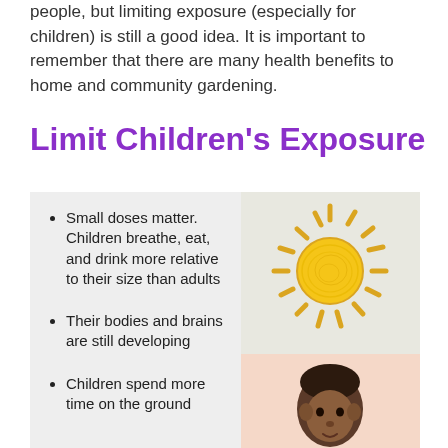people, but limiting exposure (especially for children) is still a good idea. It is important to remember that there are many health benefits to home and community gardening.
Limit Children's Exposure
Small doses matter. Children breathe, eat, and drink more relative to their size than adults
Their bodies and brains are still developing
Children spend more time on the ground
[Figure (illustration): Child's drawing of a yellow sun with rays on a light gray background]
[Figure (illustration): Illustration of a child's head with dark hair on a peach/salmon background]